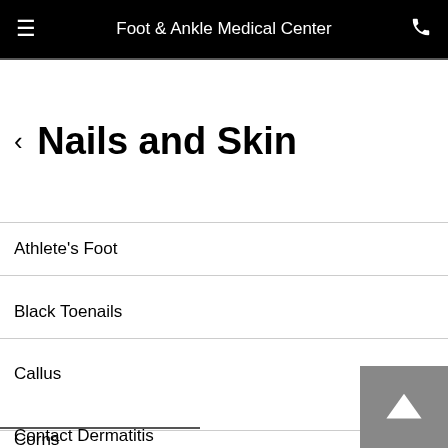Foot & Ankle Medical Center
< Nails and Skin
Athlete's Foot
Black Toenails
Callus
Contact Dermatitis
Corns